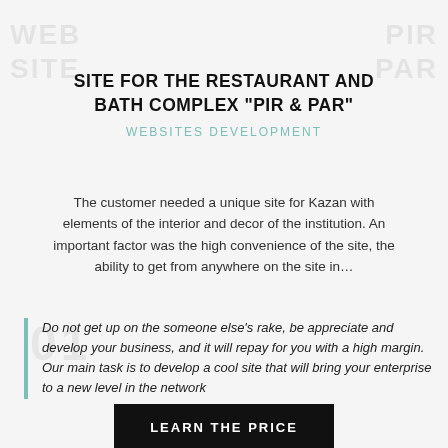SITE FOR THE RESTAURANT AND BATH COMPLEX "PIR & PAR"
WEBSITES DEVELOPMENT
The customer needed a unique site for Kazan with elements of the interior and decor of the institution. An important factor was the high convenience of the site, the ability to get from anywhere on the site in…
Do not get up on the someone else's rake, be appreciate and develop your business, and it will repay for you with a high margin. Our main task is to develop a cool site that will bring your enterprise to a new level in the network
LEARN THE PRICE